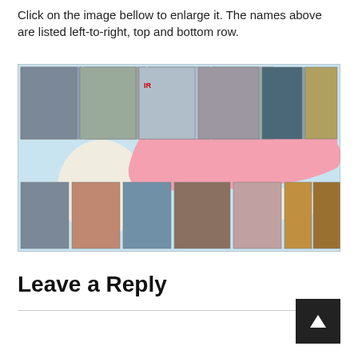Click on the image bellow to enlarge it. The names above are listed left-to-right, top and bottom row.
[Figure (photo): A composite image showing a world map with Russia highlighted in pink, with portrait photos of individuals arranged along the top and bottom rows of the map.]
Leave a Reply